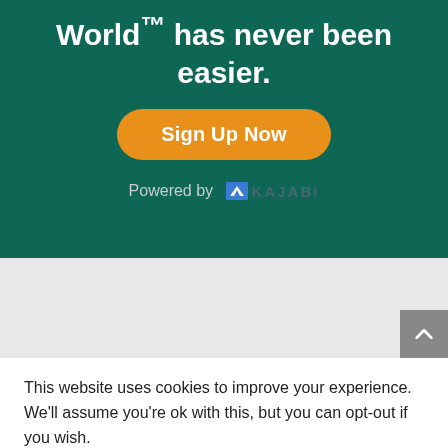World™ has never been easier.
[Figure (other): Orange rounded 'Sign Up Now' button on green background]
Powered by KAJABI
This website uses cookies to improve your experience. We'll assume you're ok with this, but you can opt-out if you wish.
Accept  Reject  Read More